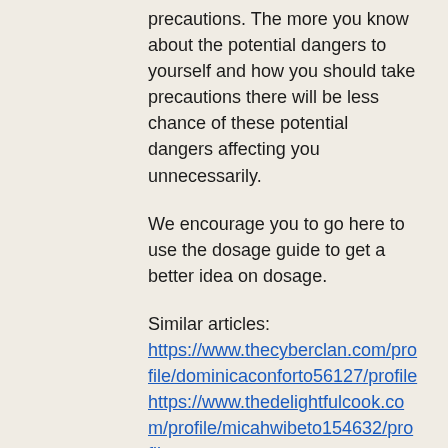precautions. The more you know about the potential dangers to yourself and how you should take precautions there will be less chance of these potential dangers affecting you unnecessarily.
We encourage you to go here to use the dosage guide to get a better idea on dosage.
Similar articles:
https://www.thecyberclan.com/profile/dominicaconforto56127/profile
https://www.thedelightfulcook.com/profile/micahwibeto154632/profile
https://www.ensembleunacosarara.com/profile/teneshagarman10427/profile
https://www.gracebecomesher.com/profile/darylcretella83648/profile